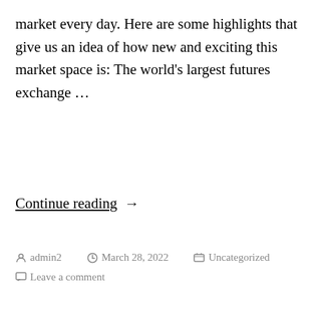market every day. Here are some highlights that give us an idea of how new and exciting this market space is: The world's largest futures exchange …
Continue reading →
admin2   March 28, 2022   Uncategorized  Leave a comment